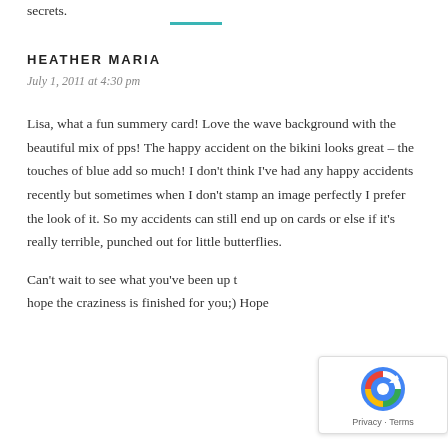secrets.
HEATHER MARIA
July 1, 2011 at 4:30 pm
Lisa, what a fun summery card! Love the wave background with the beautiful mix of pps! The happy accident on the bikini looks great – the touches of blue add so much! I don't think I've had any happy accidents recently but sometimes when I don't stamp an image perfectly I prefer the look of it. So my accidents can still end up on cards or else if it's really terrible, punched out for little butterflies.
Can't wait to see what you've been up to, hope the craziness is finished for you;) Hope